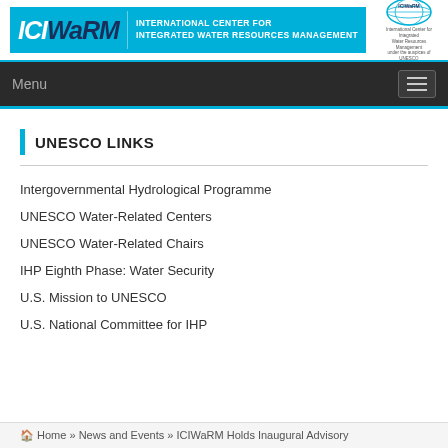ICIWaRM — INTERNATIONAL CENTER FOR INTEGRATED WATER RESOURCES MANAGEMENT
UNESCO LINKS
Intergovernmental Hydrological Programme
UNESCO Water-Related Centers
UNESCO Water-Related Chairs
IHP Eighth Phase: Water Security
U.S. Mission to UNESCO
U.S. National Committee for IHP
Home » News and Events » ICIWaRM Holds Inaugural Advisory